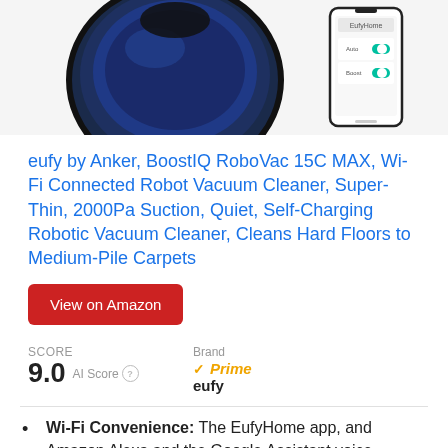[Figure (photo): Product image showing eufy RoboVac robot vacuum cleaner (circular, dark blue/black) partially visible at top, and a smartphone showing the EufyHome app with toggle controls]
eufy by Anker, BoostIQ RoboVac 15C MAX, Wi-Fi Connected Robot Vacuum Cleaner, Super-Thin, 2000Pa Suction, Quiet, Self-Charging Robotic Vacuum Cleaner, Cleans Hard Floors to Medium-Pile Carpets
View on Amazon
SCORE
9.0  AI Score
Brand
eufy
Prime
Wi-Fi Convenience: The EufyHome app, and Amazon Alexa and the Google Assistant voice control, let you operate it on a click...